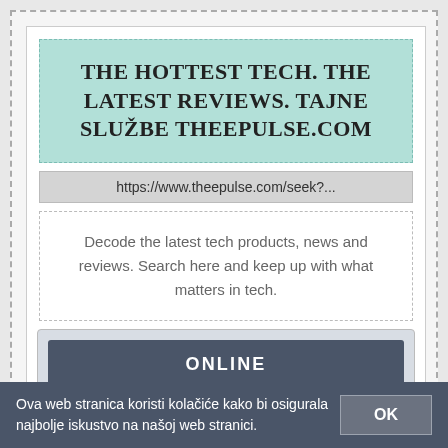THE HOTTEST TECH. THE LATEST REVIEWS. TAJNE SLUŽBE THEEPULSE.COM
https://www.theepulse.com/seek?...
Decode the latest tech products, news and reviews. Search here and keep up with what matters in tech.
[Figure (screenshot): ONLINE button in dark gray/slate color with 'ONLINE' text in white bold uppercase, inside a light gray container. Below are two green icon boxes partially visible.]
Ova web stranica koristi kolačiće kako bi osigurala najbolje iskustvo na našoj web stranici.